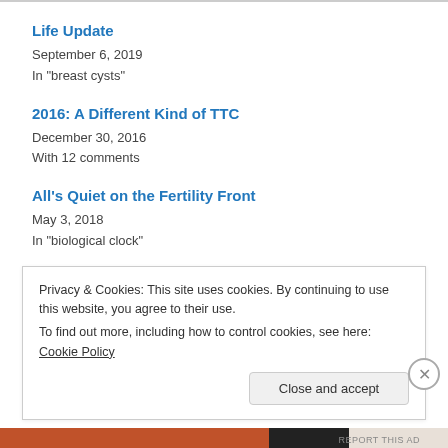Life Update
September 6, 2019
In "breast cysts"
2016: A Different Kind of TTC
December 30, 2016
With 12 comments
All's Quiet on the Fertility Front
May 3, 2018
In "biological clock"
Privacy & Cookies: This site uses cookies. By continuing to use this website, you agree to their use.
To find out more, including how to control cookies, see here: Cookie Policy